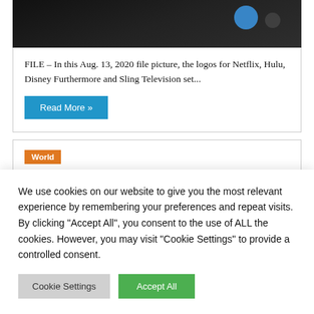[Figure (photo): Dark background photo strip showing streaming service logos, with a blue circular element visible]
FILE – In this Aug. 13, 2020 file picture, the logos for Netflix, Hulu, Disney Furthermore and Sling Television set...
Read More »
World
We use cookies on our website to give you the most relevant experience by remembering your preferences and repeat visits. By clicking "Accept All", you consent to the use of ALL the cookies. However, you may visit "Cookie Settings" to provide a controlled consent.
Cookie Settings
Accept All